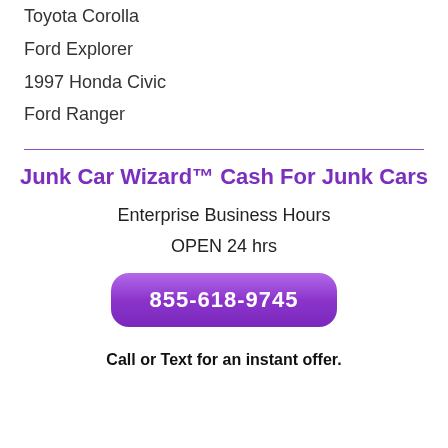Toyota Corolla
Ford Explorer
1997 Honda Civic
Ford Ranger
Junk Car Wizard™ Cash For Junk Cars
Enterprise Business Hours
OPEN 24 hrs
855-618-9745
Call or Text for an instant offer.